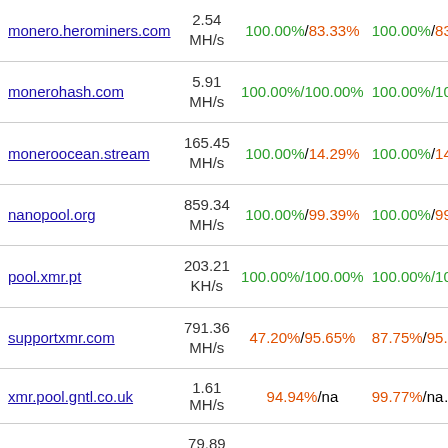| Pool | Hashrate | Stat1 | Stat2 |
| --- | --- | --- | --- |
| monero.herominers.com | 2.54 MH/s | 100.00%/83.33% | 100.00%/83.3… |
| monerohash.com | 5.91 MH/s | 100.00%/100.00% | 100.00%/100.… |
| moneroocean.stream | 165.45 MH/s | 100.00%/14.29% | 100.00%/14.2… |
| nanopool.org | 859.34 MH/s | 100.00%/99.39% | 100.00%/99.4… |
| pool.xmr.pt | 203.21 KH/s | 100.00%/100.00% | 100.00%/100.… |
| supportxmr.com | 791.36 MH/s | 47.20%/95.65% | 87.75%/95.6… |
| xmr.pool.gntl.co.uk | 1.61 MH/s | 94.94%/na | 99.77%/na… |
| xmrpool.eu | 79.89 MH/s | 100.00%/100.00% | 100.00%/100.… |
| (partial) | 726.7… |  |  |